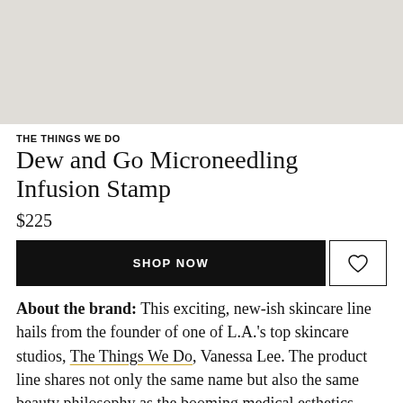[Figure (photo): Product image placeholder — light gray rectangle at top of page]
THE THINGS WE DO
Dew and Go Microneedling Infusion Stamp
$225
SHOP NOW
About the brand: This exciting, new-ish skincare line hails from the founder of one of L.A.'s top skincare studios, The Things We Do, Vanessa Lee. The product line shares not only the same name but also the same beauty philosophy as the booming medical esthetics practice: to cut out